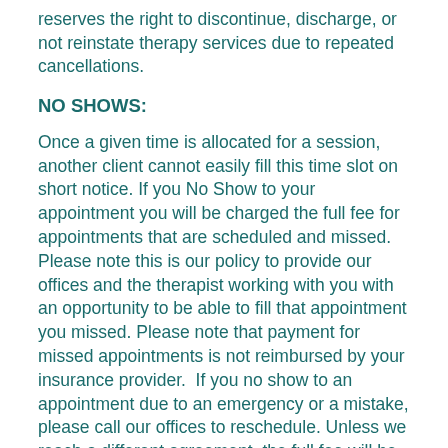reserves the right to discontinue, discharge, or not reinstate therapy services due to repeated cancellations.
NO SHOWS:
Once a given time is allocated for a session, another client cannot easily fill this time slot on short notice. If you No Show to your appointment you will be charged the full fee for appointments that are scheduled and missed. Please note this is our policy to provide our offices and the therapist working with you with an opportunity to be able to fill that appointment you missed. Please note that payment for missed appointments is not reimbursed by your insurance provider.  If you no show to an appointment due to an emergency or a mistake, please call our offices to reschedule. Unless we reach a different agreement, the full fee will be charged for sessions missed without such notification. Please